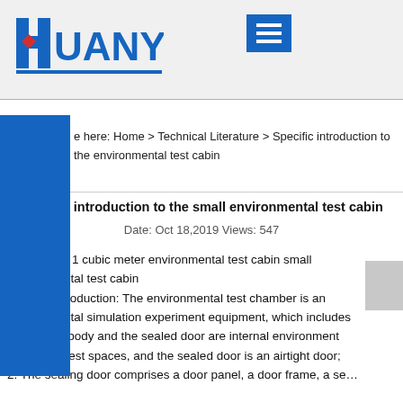HUANYI [logo] [menu icon]
e here: Home > Technical Literature > Specific introduction to the environmental test cabin
Specific introduction to the small environmental test cabin
Date: Oct 18,2019 Views: 547
Equipment: 1 cubic meter environmental test cabin small environmental test cabin
Specific introduction: The environmental test chamber is an environmental simulation experiment equipment, which includes
1. The box body and the sealed door are internal environment simulation test spaces, and the sealed door is an airtight door;
2. The sealing door comprises a door panel, a door frame, a se...